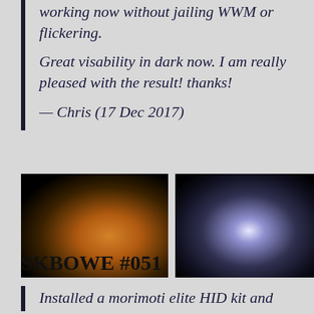working now without jailing WWM or flickering.

Great visability in dark now. I am really pleased with the result! thanks!
— Chris (17 Dec 2017)
[Figure (photo): Three photos of car headlights: first showing warm yellow/orange glow of old headlight, second showing bright white HID headlight, third showing front of dark car with headlights on in garage.]
SKBOWE #051
Installed a morimoti elite HID kit and